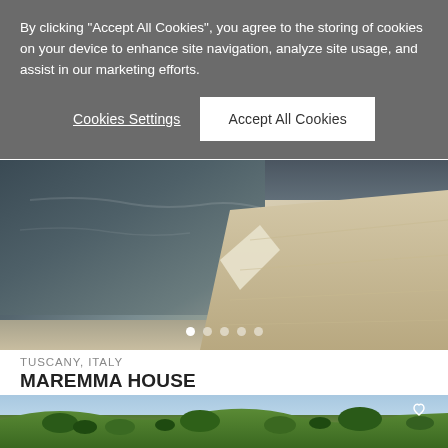By clicking "Accept All Cookies", you agree to the storing of cookies on your device to enhance site navigation, analyze site usage, and assist in our marketing efforts.
Cookies Settings
Accept All Cookies
[Figure (photo): Aerial/close-up view of an infinity pool edge with stone terrace]
TUSCANY, ITALY
MAREMMA HOUSE
House | 1 accommodation
From €500 / Night | 7 night min.
[Figure (photo): Aerial view of green Tuscan countryside with rolling hills and trees]